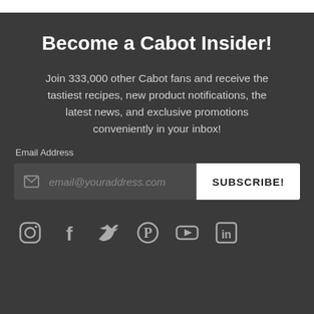Become a Cabot Insider!
Join 333,000 other Cabot fans and receive the tastiest recipes, new product notifications, the latest news, and exclusive promotions conveniently in your inbox!
Email Address
[Figure (screenshot): Email subscription input field with envelope icon and placeholder text 'email@youraddress.com', and a white SUBSCRIBE! button]
[Figure (infographic): Social media icons row: Instagram, Facebook, Twitter, Pinterest, YouTube, LinkedIn]